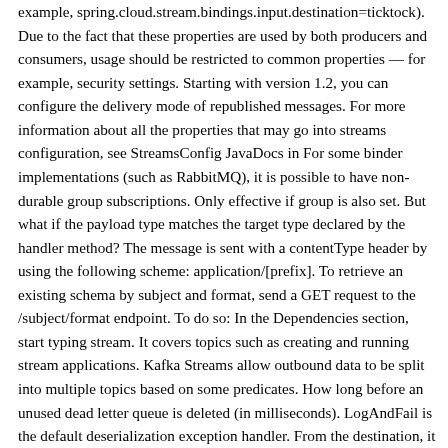example, spring.cloud.stream.bindings.input.destination=ticktock). Due to the fact that these properties are used by both producers and consumers, usage should be restricted to common properties — for example, security settings. Starting with version 1.2, you can configure the delivery mode of republished messages. For more information about all the properties that may go into streams configuration, see StreamsConfig JavaDocs in For some binder implementations (such as RabbitMQ), it is possible to have non-durable group subscriptions. Only effective if group is also set. But what if the payload type matches the target type declared by the handler method? The message is sent with a contentType header by using the following scheme: application/[prefix]. To retrieve an existing schema by subject and format, send a GET request to the /subject/format endpoint. To do so: In the Dependencies section, start typing stream. It covers topics such as creating and running stream applications. Kafka Streams allow outbound data to be split into multiple topics based on some predicates. How long before an unused dead letter queue is deleted (in milliseconds). LogAndFail is the default deserialization exception handler. From the destination, it is independently processed by a microservice application that computes time-windowed averages and by another microservice application that ingests the